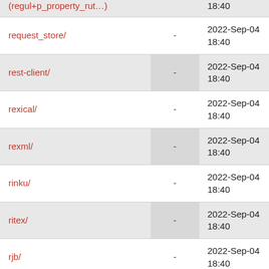| Name |  | Date |
| --- | --- | --- |
| (truncated top row) |  | 18:40 |
| request_store/ | - | 2022-Sep-04
18:40 |
| rest-client/ | - | 2022-Sep-04
18:40 |
| rexical/ | - | 2022-Sep-04
18:40 |
| rexml/ | - | 2022-Sep-04
18:40 |
| rinku/ | - | 2022-Sep-04
18:40 |
| ritex/ | - | 2022-Sep-04
18:40 |
| rjb/ | - | 2022-Sep-04
18:40 |